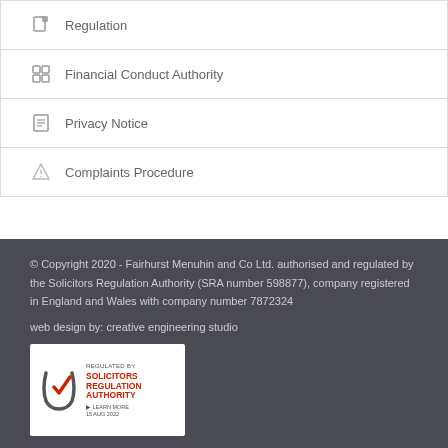Regulation
Financial Conduct Authority
Privacy Notice
Complaints Procedure
© Copyright 2020 - Fairhurst Menuhin and Co Ltd. authorised and regulated by the Solicitors Regulation Authority (SRA number 598877), company registered in England and Wales with company number 7872324
web design by: creative engineering studio